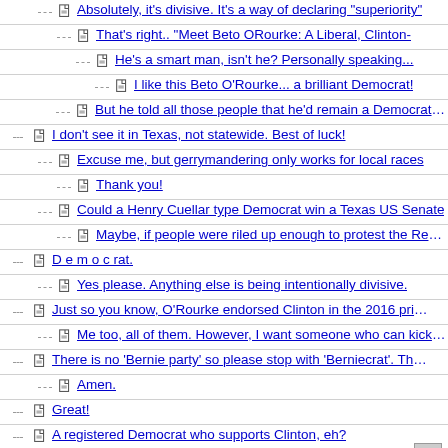Absolutely, it's divisive. It's a way of declaring "superiority"
That's right.. "Meet Beto ORourke: A Liberal, Clinton-
He's a smart man, isn't he? Personally speaking...
I like this Beto O'Rourke... a brilliant Democrat!
But he told all those people that he'd remain a Democrat, and
I don't see it in Texas, not statewide. Best of luck!
Excuse me, but gerrymandering only works for local races
Thank you!
Could a Henry Cuellar type Democrat win a Texas US Senate
Maybe, if people were riled up enough to protest the Repubs
D e m o c rat.
Yes please. Anything else is being intentionally divisive.
Just so you know, O'Rourke endorsed Clinton in the 2016 primaries.
Me too, all of them. However, I want someone who can kick the
There is no 'Bernie party' so please stop with 'Berniecrat'. Thanks. nt
Amen.
Great!
A registered Democrat who supports Clinton, eh?
O'Rourke is a DEMOCRAT, as the actual story correctly stated.
"Please do not contribute to the breaking up of the Democratic